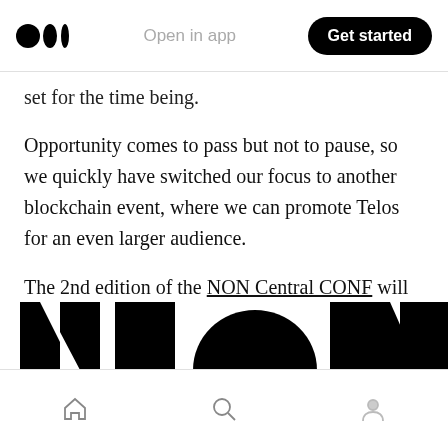Open in app | Get started
set for the time being.
Opportunity comes to pass but not to pause, so we quickly have switched our focus to another blockchain event, where we can promote Telos for an even larger audience.
The 2nd edition of the NON Central CONF will take place again in León, Spain, during 22–24th June weekend.
[Figure (logo): Partial NON Central CONF logo in black and white at bottom of page]